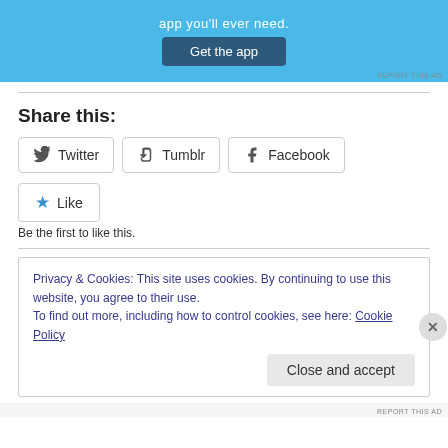[Figure (screenshot): Blue advertisement banner with 'Get the app' button and 'REPORT THIS AD' text]
REPORT THIS AD
Share this:
Twitter  Tumblr  Facebook share buttons
Like
Be the first to like this.
Privacy & Cookies: This site uses cookies. By continuing to use this website, you agree to their use.
To find out more, including how to control cookies, see here: Cookie Policy
Close and accept